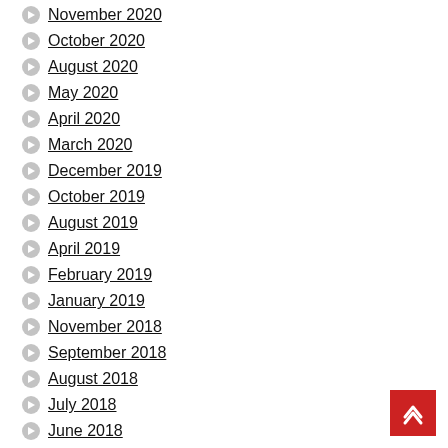November 2020
October 2020
August 2020
May 2020
April 2020
March 2020
December 2019
October 2019
August 2019
April 2019
February 2019
January 2019
November 2018
September 2018
August 2018
July 2018
June 2018
January 2018
November 2017
October 2017